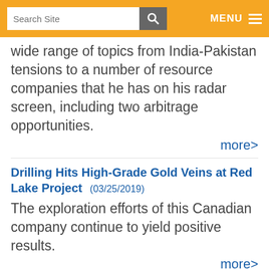Search Site | MENU
wide range of topics from India-Pakistan tensions to a number of resource companies that he has on his radar screen, including two arbitrage opportunities.
more>
Drilling Hits High-Grade Gold Veins at Red Lake Project (03/25/2019)
The exploration efforts of this Canadian company continue to yield positive results.
more>
Explorer Begins Drilling at Nevada Asset Bordering Gold Major's Prolific Mine (03/25/2019)
This program will be the start of exploring the large structural zone running northward from the other company's project.